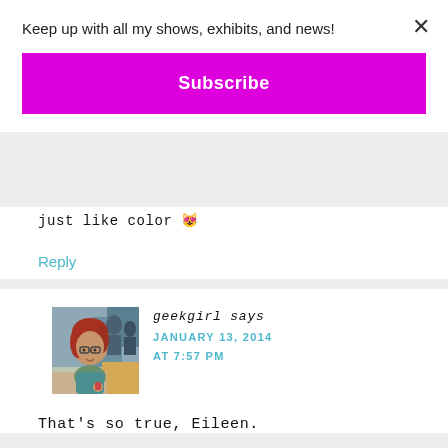Keep up with all my shows, exhibits, and news!
Subscribe
just like color 😉
Reply
[Figure (illustration): Cartoon avatar of a woman with red hair and glasses, in a colorful artistic background]
geekgirl says
JANUARY 13, 2014 AT 7:57 PM
That's so true, Eileen.